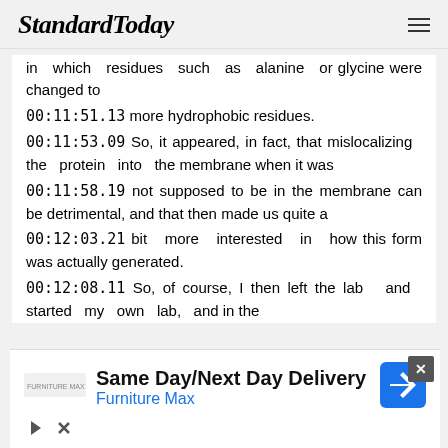StandardToday
in which residues such as alanine or glycine were changed to
00:11:51.13 more hydrophobic residues.
00:11:53.09 So, it appeared, in fact, that mislocalizing the protein into the membrane when it was
00:11:58.19 not supposed to be in the membrane can be detrimental, and that then made us quite a
00:12:03.21 bit more interested in how this form was actually generated.
00:12:08.11 So, of course, I then left the lab and started my own lab, and in the
[Figure (other): Advertisement banner: Same Day/Next Day Delivery - Furniture Max, with navigation icon]